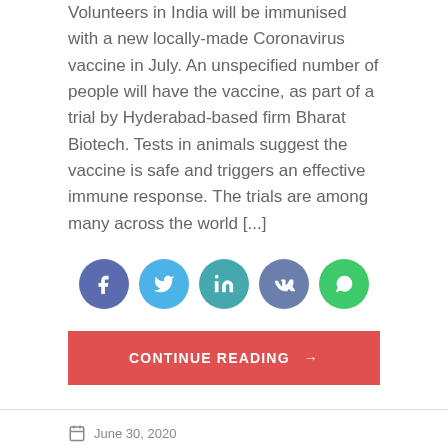Volunteers in India will be immunised with a new locally-made Coronavirus vaccine in July. An unspecified number of people will have the vaccine, as part of a trial by Hyderabad-based firm Bharat Biotech. Tests in animals suggest the vaccine is safe and triggers an effective immune response. The trials are among many across the world [...]
[Figure (infographic): Row of five social media share buttons: Facebook (dark purple-blue), Twitter (light blue), LinkedIn (teal), VK (slate blue), WhatsApp (green)]
CONTINUE READING →
June 30, 2020
[Figure (photo): Broken image placeholder labeled oda-696x522-1.jpeg]
BREAKING   POLITICS
Voter's register: Frustration at Oda as